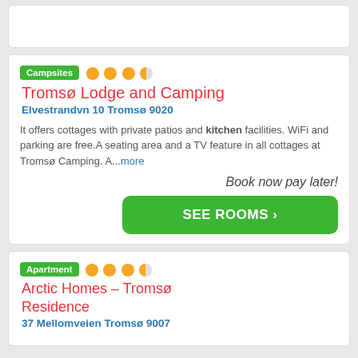[Figure (other): Top card placeholder (partially visible, empty white card)]
Campsites [rating: 3.5 stars]
Tromsø Lodge and Camping
Elvestrandvn 10 Tromsø 9020
It offers cottages with private patios and kitchen facilities. WiFi and parking are free.A seating area and a TV feature in all cottages at Tromsø Camping. A...more
Book now pay later!
SEE ROOMS ›
Apartment [rating: 3.5 stars]
Arctic Homes – Tromsø Residence
37 Mellomveien Tromsø 9007